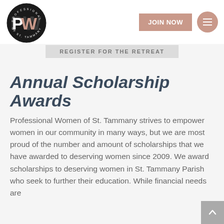[Figure (logo): Professional Women of St. Tammany circular logo with PWW initials in black and pink]
JOIN NOW
[Figure (other): Hamburger menu icon in pink circle]
REGISTER FOR THE RETREAT
Annual Scholarship Awards
Professional Women of St. Tammany strives to empower women in our community in many ways, but we are most proud of the number and amount of scholarships that we have awarded to deserving women since 2009. We award scholarships to deserving women in St. Tammany Parish who seek to further their education. While financial needs are